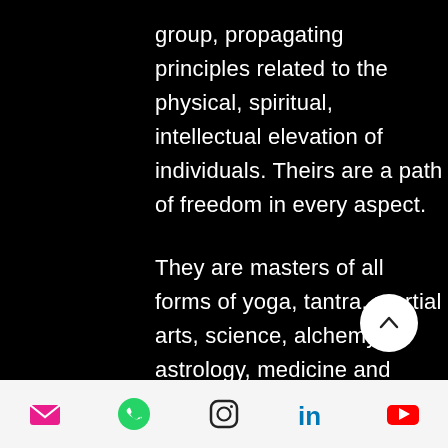group, propagating principles related to the physical, spiritual, intellectual elevation of individuals. Theirs are a path of freedom in every aspect.

They are masters of all forms of yoga, tantra, martial arts, science, alchemy, astrology, medicine and healing. They encoded their
[Figure (other): Mobile app footer navigation bar with icons: email (pink), WhatsApp (green), Instagram (black outline), LinkedIn (blue), YouTube (red)]